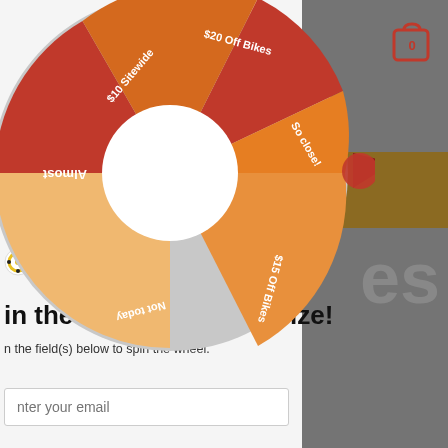[Figure (pie-chart): A spin-to-win prize wheel with colored segments labeled: '$20 Off Bikes', 'So close!', '$15 Off Bikes', 'Not today', '$10 Sitewide', 'Almost'. Colors range from dark red to orange/yellow. A dark red arrow pointer is visible at the right edge.]
[Figure (logo): Boneshaker logo: small circular icon with gear/sprocket design on left, bold text 'BONESHAKER' on right]
es
in the wheel to win a prize!
n the field(s) below to spin the wheel.
nter your email